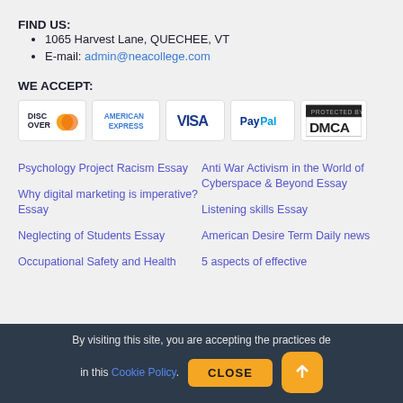FIND US:
1065 Harvest Lane, QUECHEE, VT
E-mail: admin@neacollege.com
WE ACCEPT:
[Figure (logo): Payment method logos: Discover, American Express, Visa, PayPal, DMCA Protected]
Psychology Project Racism Essay
Anti War Activism in the World of Cyberspace & Beyond Essay
Why digital marketing is imperative? Essay
Listening skills Essay
Neglecting of Students Essay
American Desire Term Daily news
Occupational Safety and Health
5 aspects of effective
By visiting this site, you are accepting the practices described in this Cookie Policy.